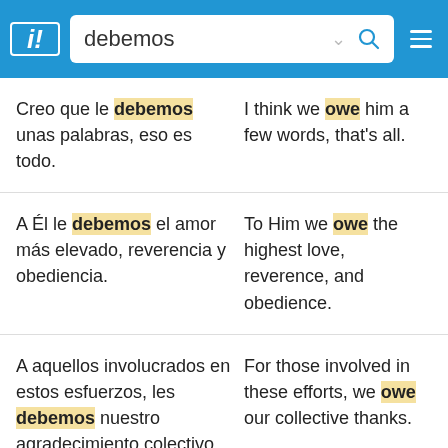debemos [search bar with SpanishDict logo]
Creo que le debemos unas palabras, eso es todo.
I think we owe him a few words, that's all.
A Él le debemos el amor más elevado, reverencia y obediencia.
To Him we owe the highest love, reverence, and obedience.
A aquellos involucrados en estos esfuerzos, les debemos nuestro agradecimiento colectivo.
For those involved in these efforts, we owe our collective thanks.
↑ Take SpanishDict with you